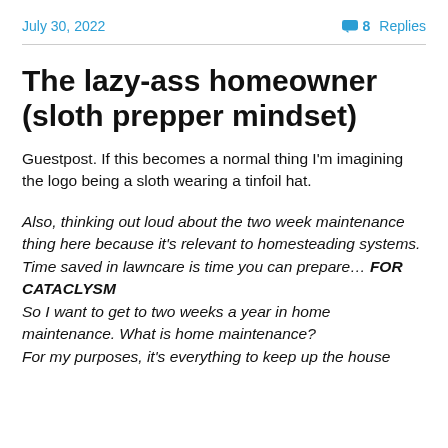July 30, 2022   💬 8 Replies
The lazy-ass homeowner (sloth prepper mindset)
Guestpost. If this becomes a normal thing I'm imagining the logo being a sloth wearing a tinfoil hat.
Also, thinking out loud about the two week maintenance thing here because it's relevant to homesteading systems. Time saved in lawncare is time you can prepare… FOR CATACLYSM
So I want to get to two weeks a year in home maintenance. What is home maintenance?
For my purposes, it's everything to keep up the house